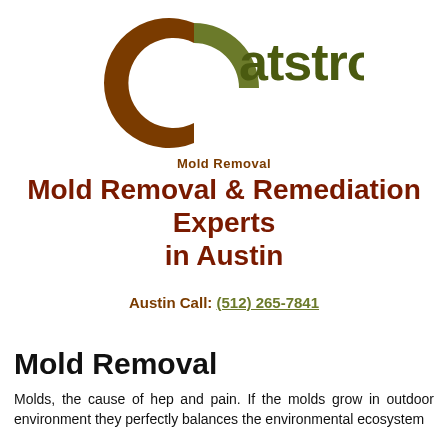[Figure (logo): Catstrong logo: large brown 'C' with olive/green and brown segments, text 'atstrong' in olive/dark green, 'Mold Removal' in bold dark brown below the wordmark]
Mold Removal & Remediation Experts in Austin
Austin Call: (512) 265-7841
Mold Removal
Molds, the cause of hep and pain. If the molds grow in outdoor environment they perfectly balances the environmental ecosystem